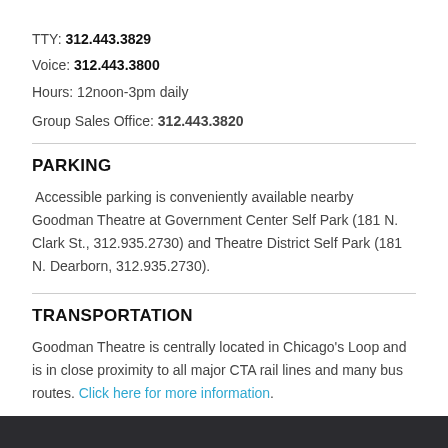TTY: 312.443.3829
Voice: 312.443.3800
Hours: 12noon-3pm daily
Group Sales Office: 312.443.3820
PARKING
Accessible parking is conveniently available nearby Goodman Theatre at Government Center Self Park (181 N. Clark St., 312.935.2730) and Theatre District Self Park (181 N. Dearborn, 312.935.2730).
TRANSPORTATION
Goodman Theatre is centrally located in Chicago's Loop and is in close proximity to all major CTA rail lines and many bus routes. Click here for more information.